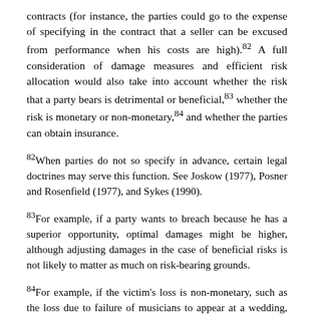contracts (for instance, the parties could go to the expense of specifying in the contract that a seller can be excused from performance when his costs are high).82 A full consideration of damage measures and efficient risk allocation would also take into account whether the risk that a party bears is detrimental or beneficial,83 whether the risk is monetary or non-monetary,84 and whether the parties can obtain insurance.
82When parties do not so specify in advance, certain legal doctrines may serve this function. See Joskow (1977), Posner and Rosenfield (1977), and Sykes (1990).
83For example, if a party wants to breach because he has a superior opportunity, optimal damages might be higher, although adjusting damages in the case of beneficial risks is not likely to matter as much on risk-bearing grounds.
84For example, if the victim's loss is non-monetary, such as the loss due to failure of musicians to appear at a wedding, financial compensation in the form of damages may not constitute an optimal form of insurance. See